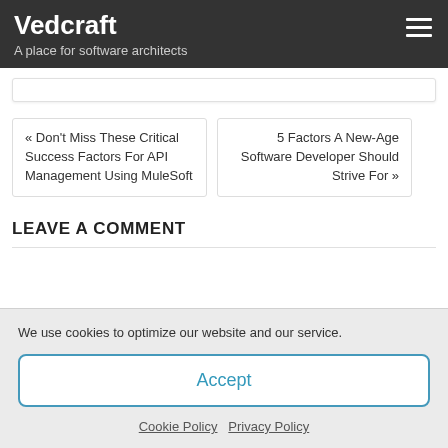Vedcraft — A place for software architects
« Don't Miss These Critical Success Factors For API Management Using MuleSoft
5 Factors A New-Age Software Developer Should Strive For »
LEAVE A COMMENT
We use cookies to optimize our website and our service.
Accept
Cookie Policy   Privacy Policy